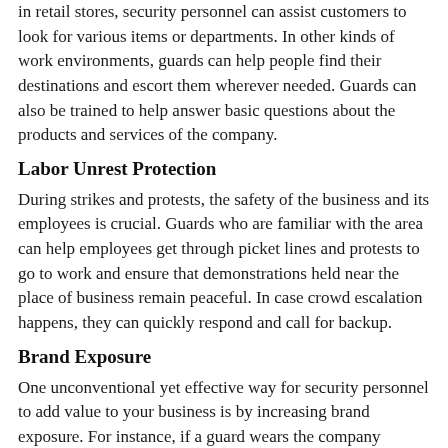in retail stores, security personnel can assist customers to look for various items or departments. In other kinds of work environments, guards can help people find their destinations and escort them wherever needed. Guards can also be trained to help answer basic questions about the products and services of the company.
Labor Unrest Protection
During strikes and protests, the safety of the business and its employees is crucial. Guards who are familiar with the area can help employees get through picket lines and protests to go to work and ensure that demonstrations held near the place of business remain peaceful. In case crowd escalation happens, they can quickly respond and call for backup.
Brand Exposure
One unconventional yet effective way for security personnel to add value to your business is by increasing brand exposure. For instance, if a guard wears the company uniform or a shirt bearing the company logo, customers can immediately connect your brand with their service. Branded security can improve the